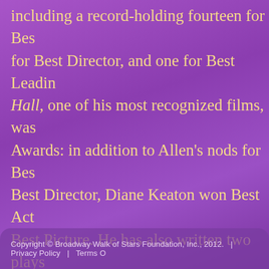including a record-holding fourteen for Best Director, and one for Best Leading Hall, one of his most recognized films, was Awards: in addition to Allen's nods for Best Best Director, Diane Keaton won Best Act Best Picture. He has also written two plays success on Broadway: Don't Drink the Wa Again Sam (1969). The latter, which Allen screen, was made into a film in 1972. Alle writing collections and enjoys a side caree continues to write, direct, and produce film
Copyright © Broadway Walk of Stars Foundation, Inc., 2012.  |  Privacy Policy  |  Terms O